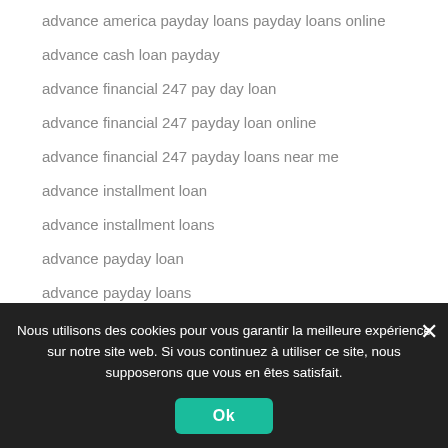advance america payday loans payday loans online
advance cash loan payday
advance financial 247 pay day loan
advance financial 247 payday loan online
advance financial 247 payday loans near me
advance installment loan
advance installment loans
advance payday loan
advance payday loans
Advance Payday Loans Online
Advance Payday Loans Online Generally
Nous utilisons des cookies pour vous garantir la meilleure expérience sur notre site web. Si vous continuez à utiliser ce site, nous supposerons que vous en êtes satisfait.